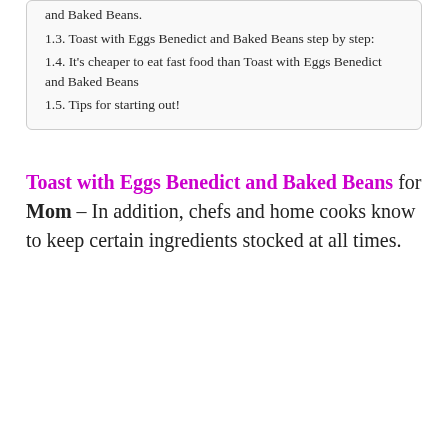and Baked Beans.
1.3. Toast with Eggs Benedict and Baked Beans step by step:
1.4. It’s cheaper to eat fast food than Toast with Eggs Benedict and Baked Beans
1.5. Tips for starting out!
Toast with Eggs Benedict and Baked Beans for Mom – In addition, chefs and home cooks know to keep certain ingredients stocked at all times.